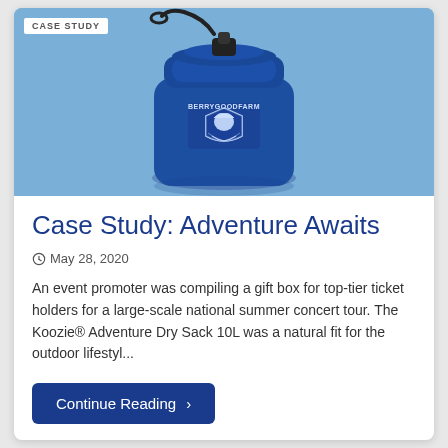[Figure (photo): Blue Koozie Adventure Dry Sack 10L with BERRYGOODFARM logo on light blue background, with CASE STUDY badge in top-left corner]
Case Study: Adventure Awaits
May 28, 2020
An event promoter was compiling a gift box for top-tier ticket holders for a large-scale national summer concert tour. The Koozie® Adventure Dry Sack 10L was a natural fit for the outdoor lifestyl...
Continue Reading ›